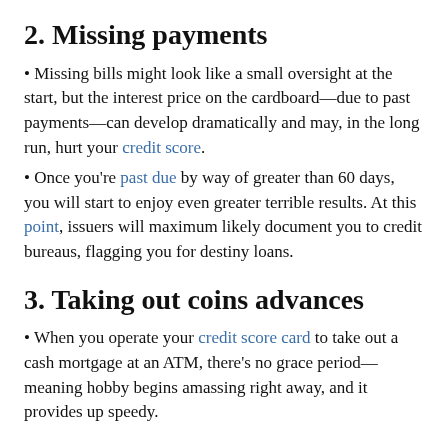2. Missing payments
Missing bills might look like a small oversight at the start, but the interest price on the cardboard—due to past payments—can develop dramatically and may, in the long run, hurt your credit score.
Once you're past due by way of greater than 60 days, you will start to enjoy even greater terrible results. At this point, issuers will maximum likely document you to credit bureaus, flagging you for destiny loans.
3. Taking out coins advances
When you operate your credit score card to take out a cash mortgage at an ATM, there's no grace period—meaning hobby begins amassing right away, and it provides up speedy.